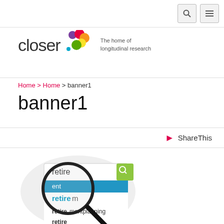navigation bar with search and menu icons
[Figure (logo): CLOSER logo with coloured dots and tagline 'The home of longitudinal research']
Home > Home > banner1
banner1
ShareThis
[Figure (illustration): Magnifying glass over a search bar showing the word 'retire' with autocomplete suggestions including 'retirement', 'retirementplanning', 'retire']